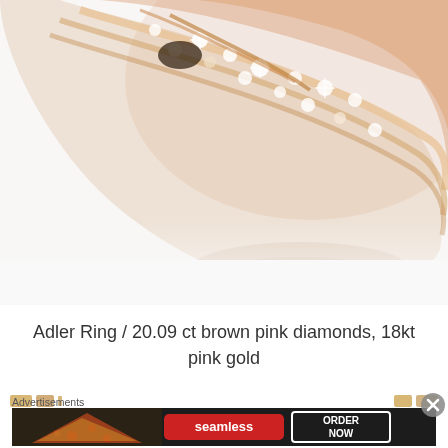[Figure (photo): Close-up macro photograph of an Adler ring made of 18kt pink gold set with brown pink diamonds totaling 20.09 ct, shown against a white background with soft shadow. The top portion of the ring is visible showing multiple rows of sparkling diamonds in rose gold setting.]
Adler Ring / 20.09 ct brown pink diamonds, 18kt pink gold
[Figure (photo): Row of small jewelry thumbnail images at the bottom of the page, partially visible]
Advertisements
[Figure (screenshot): Advertisement banner for Seamless food delivery showing pizza image on left, Seamless logo in red center, and ORDER NOW button on right, all on dark background]